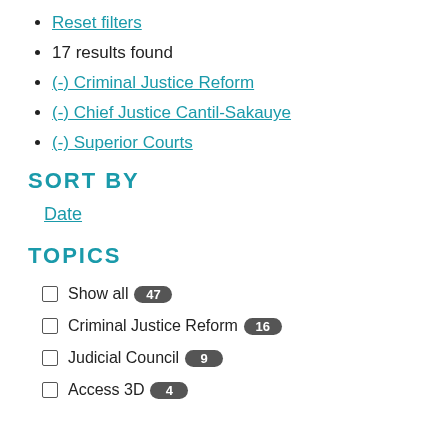Reset filters
17 results found
(-) Criminal Justice Reform
(-) Chief Justice Cantil-Sakauye
(-) Superior Courts
SORT BY
Date
TOPICS
Show all 47
Criminal Justice Reform 16
Judicial Council 9
Access 3D 4